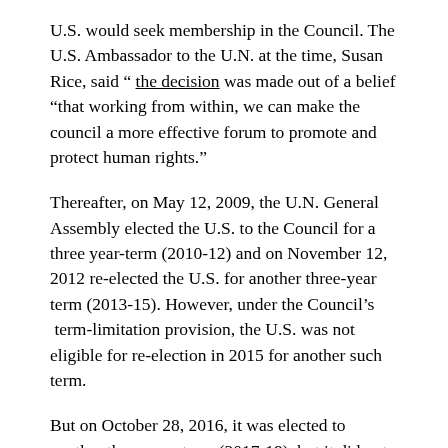U.S. would seek membership in the Council. The U.S. Ambassador to the U.N. at the time, Susan Rice, said " the decision was made out of a belief "that working from within, we can make the council a more effective forum to promote and protect human rights."
Thereafter, on May 12, 2009, the U.N. General Assembly elected the U.S. to the Council for a three year-term (2010-12) and on November 12, 2012 re-elected the U.S. for another three-year term (2013-15). However, under the Council's  term-limitation provision, the U.S. was not eligible for re-election in 2015 for another such term.
But on October 28, 2016, it was elected to another three-year term (2017-19), but it did not complete that term when the U.S. withdrew from membership on June 19, 2018.
U.S. Withdrawal from Council Membership, June 19